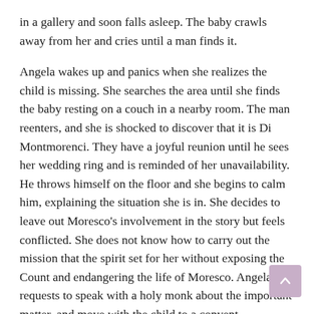in a gallery and soon falls asleep. The baby crawls away from her and cries until a man finds it.

Angela wakes up and panics when she realizes the child is missing. She searches the area until she finds the baby resting on a couch in a nearby room. The man reenters, and she is shocked to discover that it is Di Montmorenci. They have a joyful reunion until he sees her wedding ring and is reminded of her unavailability. He throws himself on the floor and she begins to calm him, explaining the situation she is in. She decides to leave out Moresco's involvement in the story but feels conflicted. She does not know how to carry out the mission that the spirit set for her without exposing the Count and endangering the life of Moresco. Angela requests to speak with a holy monk about the important matter, and move with the child to a convent temporarily. She confesses everything to Father Bernada, who urges the necessity of bringing the Count Ruvello to justice, while only revealing Moresco's guilt if necessary.